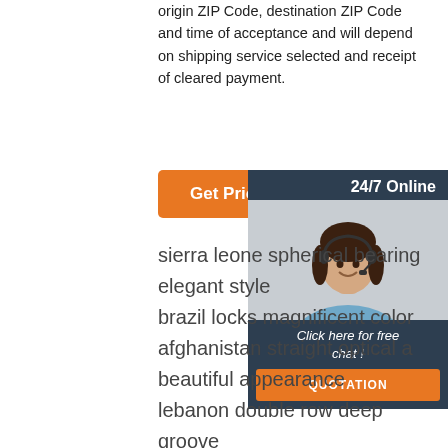origin ZIP Code, destination ZIP Code and time of acceptance and will depend on shipping service selected and receipt of cleared payment.
[Figure (other): Orange 'Get Price' button]
[Figure (other): 24/7 Online chat widget with photo of woman with headset, 'Click here for free chat!' text and orange QUOTATION button]
sierra leone spherical bearing elegant style
brazil locks magnificent color
afghanistan straight optical a beautiful appearance
lebanon double row deep groove ball bearings variety
ghana metal products reliable performance
zambia door window hardware know fine quality
zambia linear bearings made